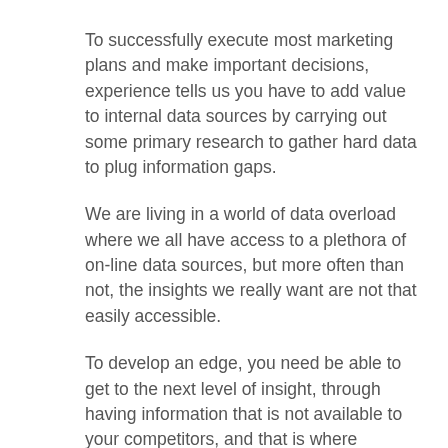To successfully execute most marketing plans and make important decisions, experience tells us you have to add value to internal data sources by carrying out some primary research to gather hard data to plug information gaps.
We are living in a world of data overload where we all have access to a plethora of on-line data sources, but more often than not, the insights we really want are not that easily accessible.
To develop an edge, you need be able to get to the next level of insight, through having information that is not available to your competitors, and that is where TREND comes in.
We have over 20 years experience